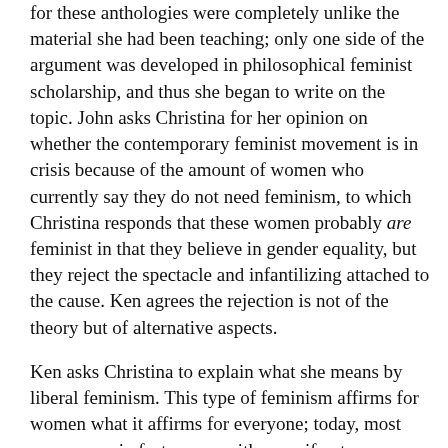for these anthologies were completely unlike the material she had been teaching; only one side of the argument was developed in philosophical feminist scholarship, and thus she began to write on the topic. John asks Christina for her opinion on whether the contemporary feminist movement is in crisis because of the amount of women who currently say they do not need feminism, to which Christina responds that these women probably are feminist in that they believe in gender equality, but they reject the spectacle and infantilizing attached to the cause. Ken agrees the rejection is not of the theory but of alternative aspects.
Ken asks Christina to explain what she means by liberal feminism. This type of feminism affirms for women what it affirms for everyone; today, most women are in fact on par with men, if not more successful in many areas, but there is no account of this. Instead, Christina notices persistent debilitating statements and claims about the current socio-political position of women. Is patriarchy over, asks Ken? American society is not patriarchal, argues Christina. Women and men have problems; in some domains, men are better off, in some, women are. Isn't it odd, John asks, that since women now are better educated, we have few women CEO's, few women running for candidacy, for us as a whole work? Christina admits that many of